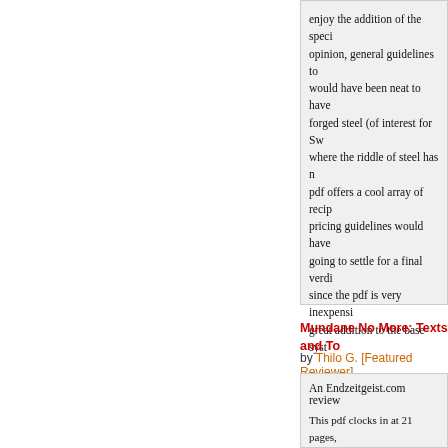enjoy the addition of the speci... opinion, general guidelines to... would have been neat to have... forged steel (of interest for Sw... where the riddle of steel has n... pdf offers a cool array of recip... pricing guidelines would have... going to settle for a final verdi... since the pdf is very inexpens... great addition to the base syst...
Endzeitgeist out.
Rating: [5 of 5 S...
Mundane No More: Texts and To...
by Thilo G. [Featured Reviewer]
An Endzeitgeist.com review
This pdf clocks in at 21 pages, editorial, 1 page ToC, 1 page S... leaving us with 17 pages of co...
I'm a bibliophile and utterly OC... take away my reading materia... - fast. I become slightly conce...